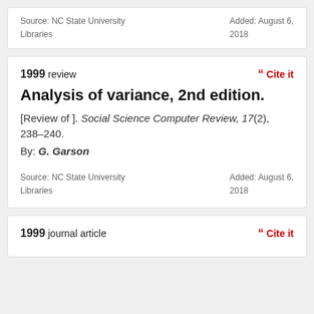Source: NC State University Libraries     Added: August 6, 2018
1999 review
Cite it
Analysis of variance, 2nd edition.
[Review of ]. Social Science Computer Review, 17(2), 238–240.
By: G. Garson
Source: NC State University Libraries     Added: August 6, 2018
1999 journal article
Cite it